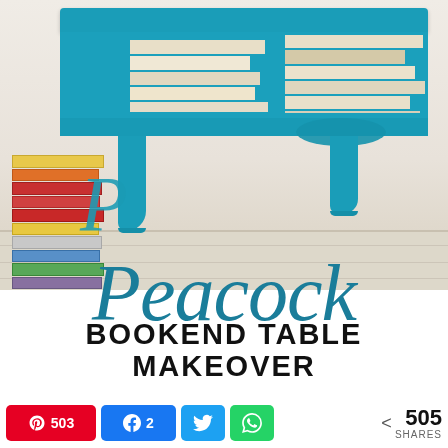[Figure (photo): A teal/peacock blue painted bookend table with books stacked inside its open shelf area, and a tall stack of colorful books on the floor to the left]
Peacock BOOKEND TABLE MAKEOVER
503  2  505 SHARES